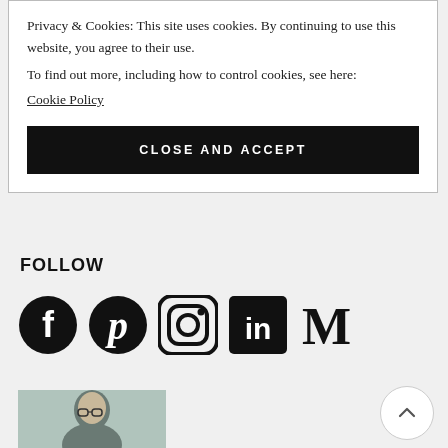Privacy & Cookies: This site uses cookies. By continuing to use this website, you agree to their use.
To find out more, including how to control cookies, see here:
Cookie Policy
CLOSE AND ACCEPT
FOLLOW
[Figure (infographic): Row of five social media icons: Facebook, Pinterest, Instagram, LinkedIn, Medium]
[Figure (photo): Black and white portrait photo of a woman wearing glasses, smiling slightly, with dark hair]